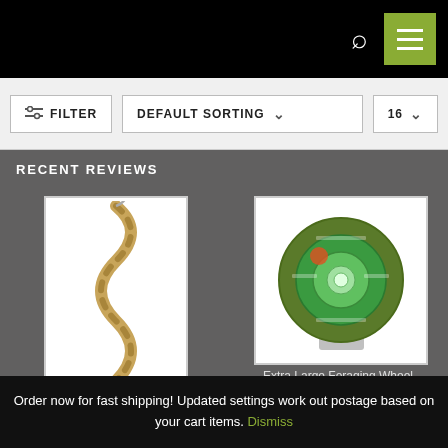Navigation bar with search and menu icons
FILTER | DEFAULT SORTING | 16
RECENT REVIEWS
[Figure (photo): Twisted rope bird perch in a zigzag shape with a hook at the top]
[Figure (photo): Extra Large Foraging Wheel (Second Generation) — a green circular foraging toy in a plastic stand]
Extra Large Foraging Wheel (Second Generation) ★★★★★
Order now for fast shipping! Updated settings work out postage based on your cart items. Dismiss